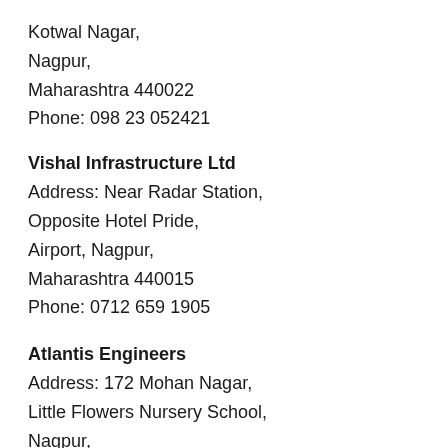Kotwal Nagar,
Nagpur,
Maharashtra 440022
Phone: 098 23 052421
Vishal Infrastructure Ltd
Address: Near Radar Station,
Opposite Hotel Pride,
Airport, Nagpur,
Maharashtra 440015
Phone: 0712 659 1905
Atlantis Engineers
Address: 172 Mohan Nagar,
Little Flowers Nursery School,
Nagpur,